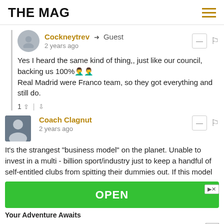THE MAG
Cockneytrev → Guest
2 years ago
Yes I heard the same kind of thing,, just like our council, backing us 100%🤦♂️🤦♂️
Real Madrid were Franco team, so they got everything and still do.
1 ↑ | ↓
Coach Clagnut
2 years ago
It's the strangest "business model" on the planet. Unable to invest in a multi - billion sport/industry just to keep a handful of self-entitled clubs from spitting their dummies out. If this model
[Figure (infographic): Green OPEN button advertisement banner with play and close icons, tagline 'Your Adventure Awaits', and Ad label in bottom right]
Your Adventure Awaits